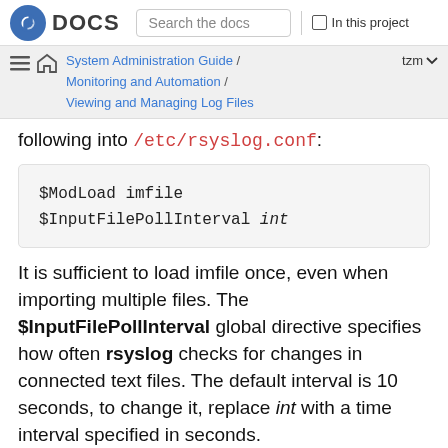Fedora DOCS — Search the docs | In this project
System Administration Guide / Monitoring and Automation / Viewing and Managing Log Files   tzm
following into /etc/rsyslog.conf:
$ModLoad imfile
$InputFilePollInterval int
It is sufficient to load imfile once, even when importing multiple files. The $InputFilePollInterval global directive specifies how often rsyslog checks for changes in connected text files. The default interval is 10 seconds, to change it, replace int with a time interval specified in seconds.
To identify the text files to import, use the following